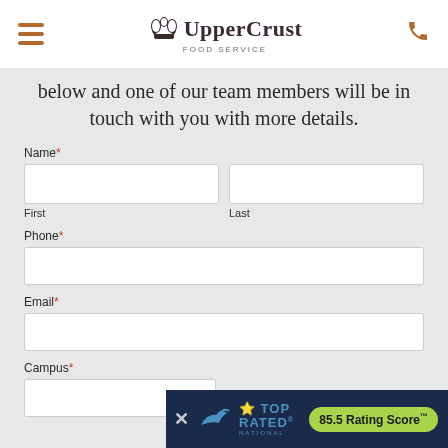UpperCrust FOOD SERVICE
below and one of our team members will be in touch with you with more details.
Name*
First
Last
Phone*
Email*
Campus*
[Figure (screenshot): Top Rated National badge with 85.5 Rating Score TM in green pill on dark blue banner]